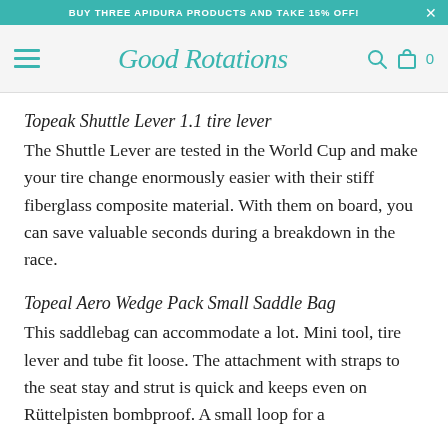BUY THREE APIDURA PRODUCTS AND TAKE 15% OFF!
[Figure (logo): Good Rotations cycling shop logo and navigation bar with hamburger menu, search icon, and cart icon]
Topeak Shuttle Lever 1.1 tire lever
The Shuttle Lever are tested in the World Cup and make your tire change enormously easier with their stiff fiberglass composite material. With them on board, you can save valuable seconds during a breakdown in the race.
Topeal Aero Wedge Pack Small Saddle Bag
This saddlebag can accommodate a lot. Mini tool, tire lever and tube fit loose. The attachment with straps to the seat stay and strut is quick and keeps even on Rüttelpisten bombproof. A small loop for a